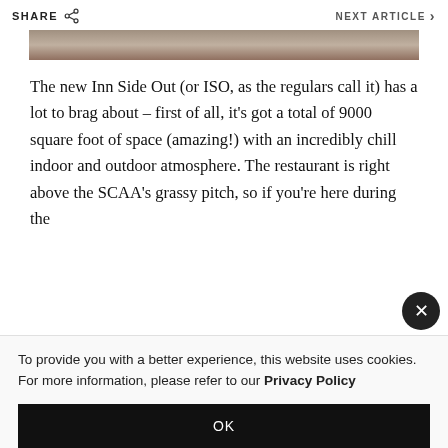SHARE
NEXT ARTICLE
[Figure (photo): Partial photograph visible at top of page, showing outdoor scene]
The new Inn Side Out (or ISO, as the regulars call it) has a lot to brag about – first of all, it's got a total of 9000 square foot of space (amazing!) with an incredibly chill indoor and outdoor atmosphere. The restaurant is right above the SCAA's grassy pitch, so if you're here during the
To provide you with a better experience, this website uses cookies. For more information, please refer to our Privacy Policy
OK